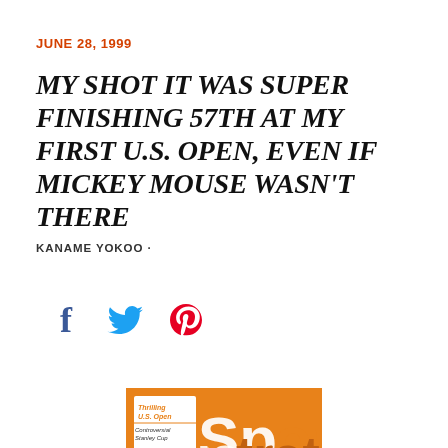JUNE 28, 1999
MY SHOT IT WAS SUPER FINISHING 57TH AT MY FIRST U.S. OPEN, EVEN IF MICKEY MOUSE WASN'T THERE
KANAME YOKOO ·
[Figure (illustration): Social media sharing icons: Facebook (f), Twitter (bird), Pinterest (P)]
[Figure (photo): Sports Illustrated magazine cover dated June 28, 1999, showing NBA Finals coverage with headline 'War on the Floor', featuring text 'Thrilling U.S. Open' and 'Controversial Stanley Cup' on a sticker, with basketball players on the cover.]